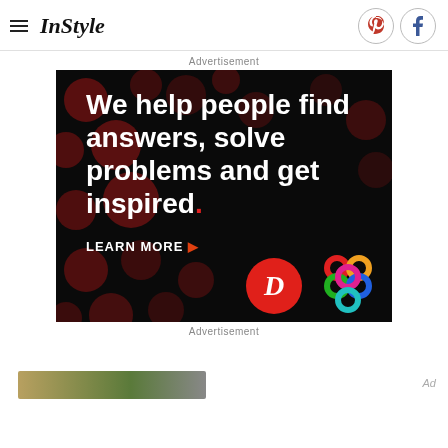InStyle
Advertisement
[Figure (other): Advertisement banner with dark background and red polka dots. Text reads: We help people find answers, solve problems and get inspired. LEARN MORE with a red D logo and colorful flower/knot logo.]
Advertisement
[Figure (photo): Partial thumbnail strip showing a colorful image at the bottom left of the page.]
Ad